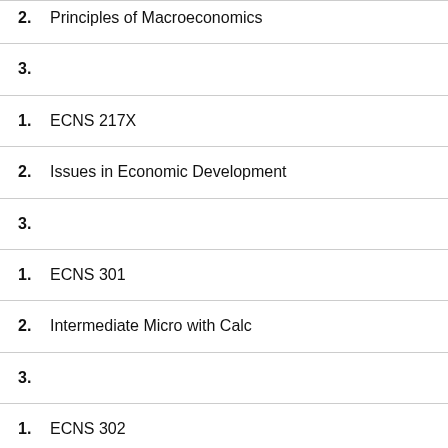2. Principles of Macroeconomics
3.
1. ECNS 217X
2. Issues in Economic Development
3.
1. ECNS 301
2. Intermediate Micro with Calc
3.
1. ECNS 302